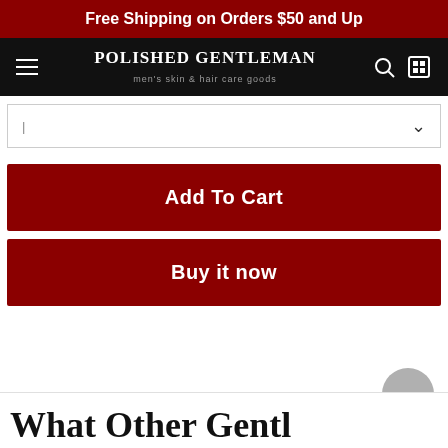Free Shipping on Orders $50 and Up
POLISHED GENTLEMAN
men's skin & hair care goods
[Figure (screenshot): Dropdown selector row with chevron arrow]
Add To Cart
Buy it now
What Other Gentl...